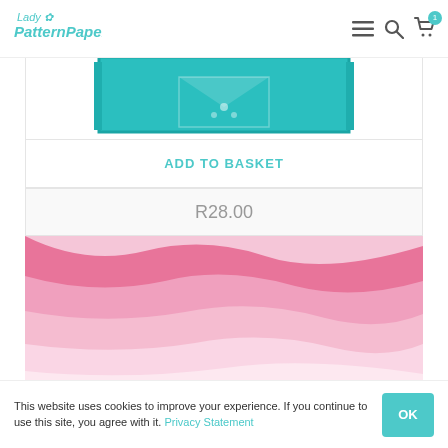Lady PatternPaper
[Figure (photo): Partial product image showing teal/turquoise pattern paper with decorative elements, cropped at top]
ADD TO BASKET
R28.00
[Figure (illustration): Pink wavy layered pattern with multiple shades of pink forming wave shapes against white background]
[Figure (photo): Strip of pink patterned paper with various designs including dots, flowers, and geometric patterns]
This website uses cookies to improve your experience. If you continue to use this site, you agree with it. Privacy Statement